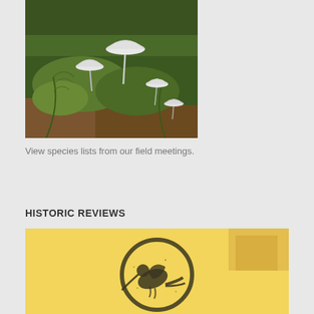[Figure (photo): Close-up photograph of small white mushrooms growing among green moss and ferns on the forest floor]
View species lists from our field meetings.
HISTORIC REVIEWS
[Figure (photo): Vintage illustration on yellow background showing a circular logo with a hummingbird silhouette inside a ring, dark stamp-like print style]